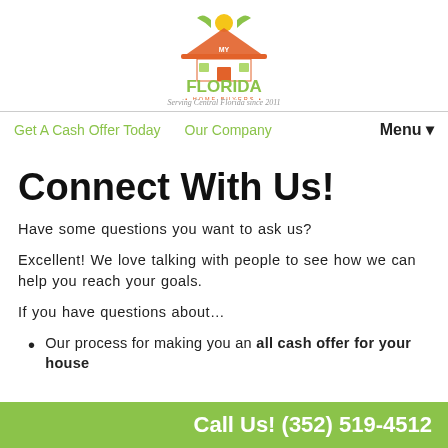[Figure (logo): My Florida Home Buyers logo with house roof icon in orange and green, green text FLORIDA, subtitle HOME BUYERS, tagline Serving Central Florida since 2011]
Get A Cash Offer Today   Our Company   Menu▼
Connect With Us!
Have some questions you want to ask us?
Excellent! We love talking with people to see how we can help you reach your goals.
If you have questions about…
Our process for making you an all cash offer for your house
Call Us! (352) 519-4512